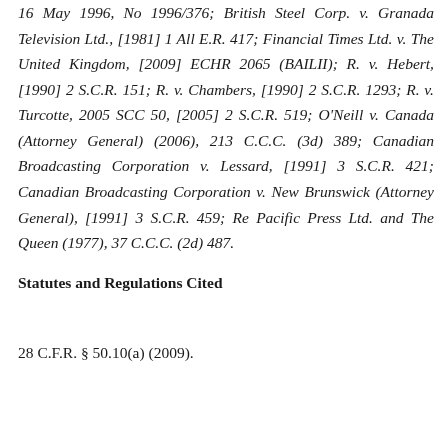16 May 1996, No 1996/376; British Steel Corp. v. Granada Television Ltd., [1981] 1 All E.R. 417; Financial Times Ltd. v. The United Kingdom, [2009] ECHR 2065 (BAILII); R. v. Hebert, [1990] 2 S.C.R. 151; R. v. Chambers, [1990] 2 S.C.R. 1293; R. v. Turcotte, 2005 SCC 50, [2005] 2 S.C.R. 519; O'Neill v. Canada (Attorney General) (2006), 213 C.C.C. (3d) 389; Canadian Broadcasting Corporation v. Lessard, [1991] 3 S.C.R. 421; Canadian Broadcasting Corporation v. New Brunswick (Attorney General), [1991] 3 S.C.R. 459; Re Pacific Press Ltd. and The Queen (1977), 37 C.C.C. (2d) 487.
Statutes and Regulations Cited
28 C.F.R. § 50.10(a) (2009).